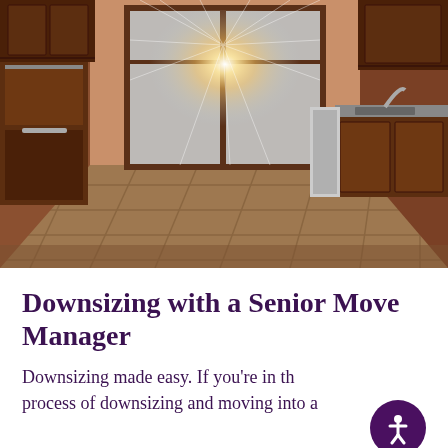[Figure (photo): Interior kitchen photo showing an empty kitchen with dark wood cabinets, stainless steel appliances, tile floor, and large glass doors/windows with bright sunlight streaming through, creating a sunburst effect.]
Downsizing with a Senior Move Manager
Downsizing made easy. If you're in the process of downsizing and moving into a